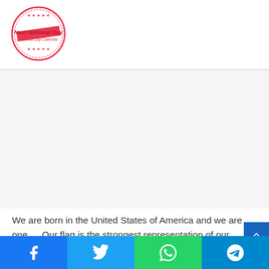[Figure (logo): Next National Day logo — circular badge with red/pink border, text 'Next National Day' and 'National Day Calendar' with star decorations]
[Figure (other): Advertisement placeholder area (gray/white background)]
We are born in the United States of America and we are one…. Our flag is the strongest representation of our strength and we would go farthest to fight for it…. Happy Flag Day to you.
[Figure (infographic): Social media share buttons bar: Facebook (blue), Twitter (light blue), WhatsApp (green), Telegram (dark blue)]